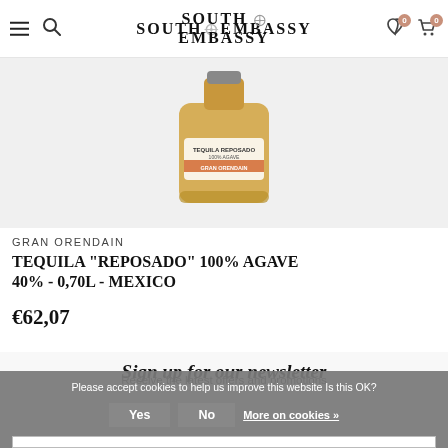SOUTH EMBASSY
[Figure (photo): Tequila Reposado bottle (Gran Orendain) against light grey background]
GRAN ORENDAIN
TEQUILA "REPOSADO" 100% AGAVE 40% - 0,70L - MEXICO
€62,07
Sign up for our newsletter
Receive the latest offers and promotions
Please accept cookies to help us improve this website Is this OK?
Yes   No   More on cookies »